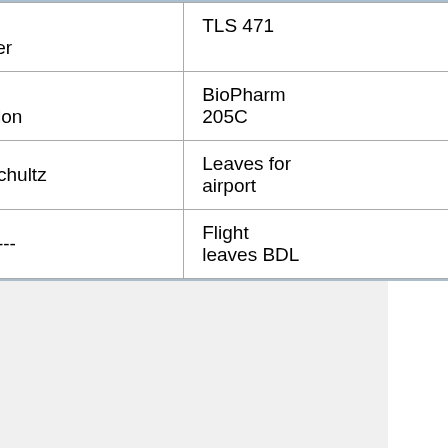| Time | Speaker | Location |
| --- | --- | --- |
| 1:30 p.m. | David Wagner | TLS 471 |
| 2:00 p.m. | Robin Chazdon | BioPharm 205C |
| 2:30 p.m. | Eric Schultz | Leaves for airport |
| 4:32 p.m. | ----------- | Flight leaves BDL |
This page was last modified on 24 February 2013, at 17:33.

Content is available under Creative Commons Attribution-ShareAlike unless otherwise noted.

Privacy policy | About EEBedia | Disclaimers